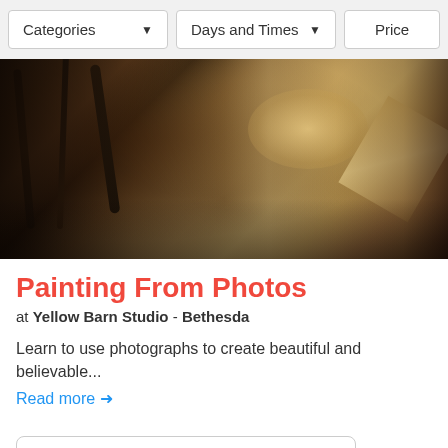Categories ▼    Days and Times ▼    Price
[Figure (photo): Blurred photo of paint brushes and an art studio scene with warm golden tones]
Painting From Photos
at Yellow Barn Studio - Bethesda
Learn to use photographs to create beautiful and believable...
Read more →
Want to be notified when this class adds more dates?